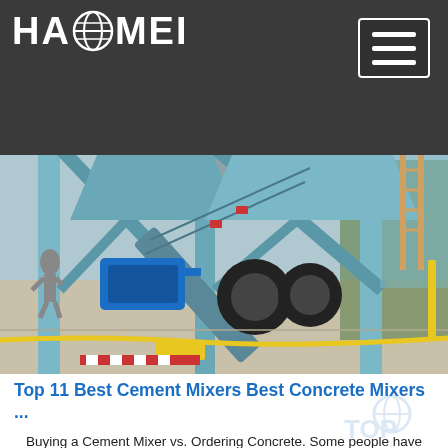HAOMEI [logo with globe]
[Figure (photo): Photograph of a mobile concrete batching plant / cement mixer station in light blue steel, with conveyor belt, large tires, a blue motor/compressor unit, and a person walking on the left. Industrial facility outdoor setting.]
Top 11 Best Cement Mixers Best Concrete Mixers ...
Buying a Cement Mixer vs. Ordering Concrete. Some people have minds like cement – thoroughly mixed-up and permanently set. But if you have an upcoming project that includes a fair amount of concrete work and need the best cement mixer or best concrete mixer you need to know your options for mixing